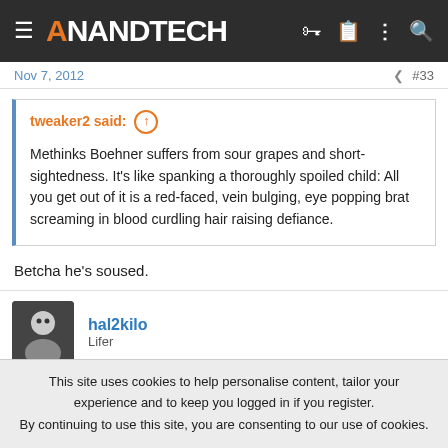AnandTech
Nov 7, 2012  #33
tweaker2 said: ⊕

Methinks Boehner suffers from sour grapes and short-sightedness. It's like spanking a thoroughly spoiled child: All you get out of it is a red-faced, vein bulging, eye popping brat screaming in blood curdling hair raising defiance.
Betcha he's soused.
hal2kilo
Lifer
This site uses cookies to help personalise content, tailor your experience and to keep you logged in if you register.
By continuing to use this site, you are consenting to our use of cookies.